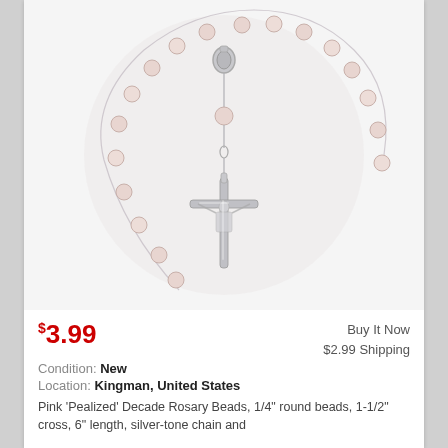[Figure (photo): Pink pearlized rosary beads with silver-tone chain and crucifix cross pendant, photographed against a white background.]
$3.99
Buy It Now
$2.99 Shipping
Condition: New
Location: Kingman, United States
Pink 'Pealized' Decade Rosary Beads, 1/4" round beads, 1-1/2" cross, 6" length, silver-tone chain and